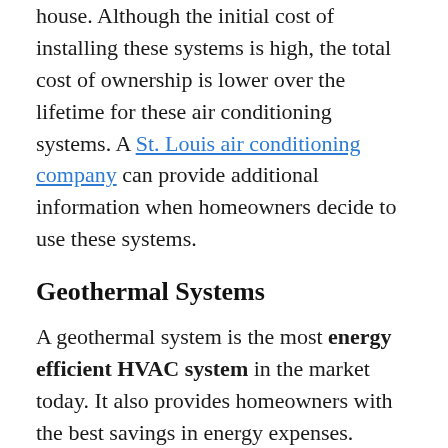house. Although the initial cost of installing these systems is high, the total cost of ownership is lower over the lifetime for these air conditioning systems. A St. Louis air conditioning company can provide additional information when homeowners decide to use these systems.
Geothermal Systems
A geothermal system is the most energy efficient HVAC system in the market today. It also provides homeowners with the best savings in energy expenses. Geothermal systems utilize the constant temperature of the earth to cool or heat the house instead